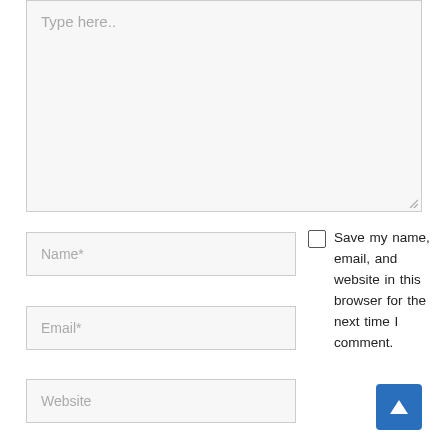[Figure (screenshot): A textarea input box with placeholder text 'Type here..' and a resize handle in the bottom-right corner. Below it are three form fields: Name*, Email*, and Website. To the right is a checkbox with label 'Save my name, email, and website in this browser for the next time I comment.' and a blue back-to-top button with an upward chevron arrow.]